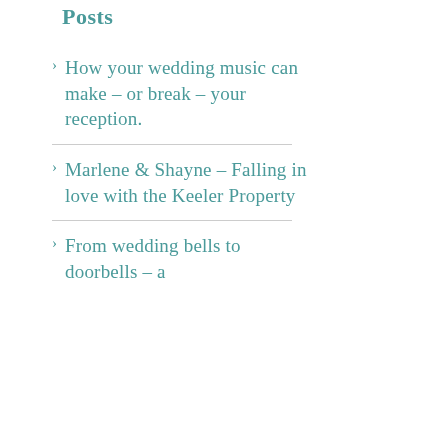Posts
How your wedding music can make – or break – your reception.
Marlene & Shayne – Falling in love with the Keeler Property
From wedding bells to doorbells – a